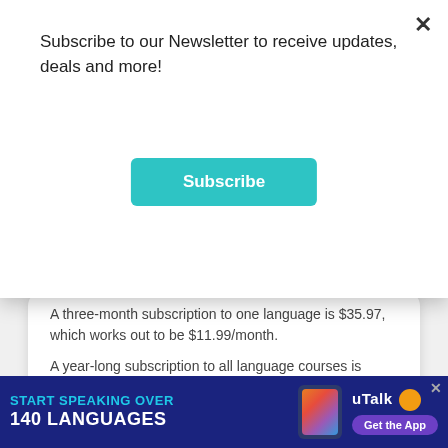Subscribe to our Newsletter to receive updates, deals and more!
Subscribe
A three-month subscription to one language is $35.97, which works out to be $11.99/month.
A year-long subscription to all language courses is $179, which is $14.92/month. Both of these subscriptions are automatically recurring.
Lifetime access to all Rosetta Stone language courses is available for $199.
[Figure (infographic): Advertisement banner: START SPEAKING OVER 140 LANGUAGES - uTalk - Get the App]